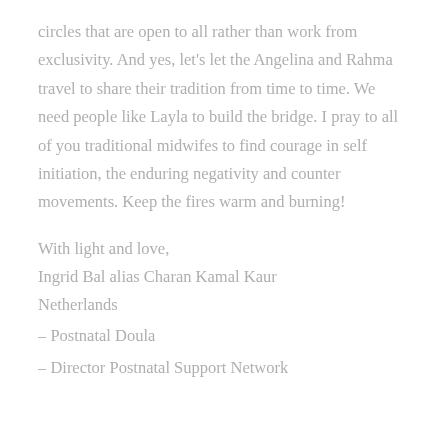circles that are open to all rather than work from exclusivity. And yes, let's let the Angelina and Rahma travel to share their tradition from time to time. We need people like Layla to build the bridge. I pray to all of you traditional midwifes to find courage in self initiation, the enduring negativity and counter movements. Keep the fires warm and burning!
With light and love,
Ingrid Bal alias Charan Kamal Kaur
Netherlands
– Postnatal Doula
– Director Postnatal Support Network